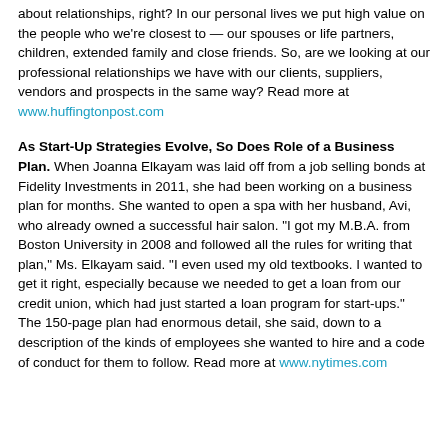about relationships, right? In our personal lives we put high value on the people who we're closest to — our spouses or life partners, children, extended family and close friends. So, are we looking at our professional relationships we have with our clients, suppliers, vendors and prospects in the same way? Read more at www.huffingtonpost.com
As Start-Up Strategies Evolve, So Does Role of a Business Plan. When Joanna Elkayam was laid off from a job selling bonds at Fidelity Investments in 2011, she had been working on a business plan for months. She wanted to open a spa with her husband, Avi, who already owned a successful hair salon. "I got my M.B.A. from Boston University in 2008 and followed all the rules for writing that plan," Ms. Elkayam said. "I even used my old textbooks. I wanted to get it right, especially because we needed to get a loan from our credit union, which had just started a loan program for start-ups." The 150-page plan had enormous detail, she said, down to a description of the kinds of employees she wanted to hire and a code of conduct for them to follow. Read more at www.nytimes.com